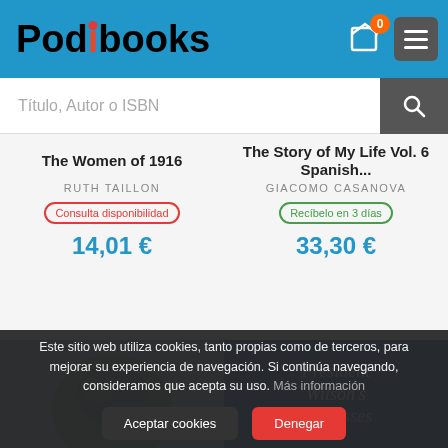[Figure (screenshot): Podibooks website header with logo, cart icon showing 0 items, and hamburger menu button on blue background]
Título, Autor o ISBN
The Women of 1916
RUTH TAILLON
Consulta disponibilidad
14,01 €
The Story of My Life Vol. 6 Spanish...
GIACOMO CASANOVA
Recíbelo en 3 días
33,30 €
[Figure (photo): Black and white photo of a bird or eagle]
[Figure (illustration): Blue book cover with italic text reading President Wilson's Addresses]
Este sitio web utiliza cookies, tanto propias como de terceros, para mejorar su experiencia de navegación. Si continúa navegando, consideramos que acepta su uso. Más información
Aceptar cookies
Denegar